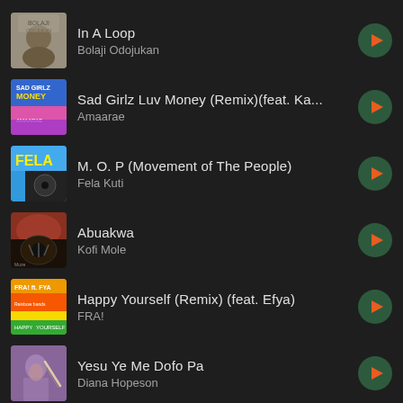In A Loop — Bolaji Odojukan
Sad Girlz Luv Money (Remix)(feat. Ka... — Amaarae
M. O. P (Movement of The People) — Fela Kuti
Abuakwa — Kofi Mole
Happy Yourself (Remix) (feat. Efya) — FRA!
Yesu Ye Me Dofo Pa — Diana Hopeson